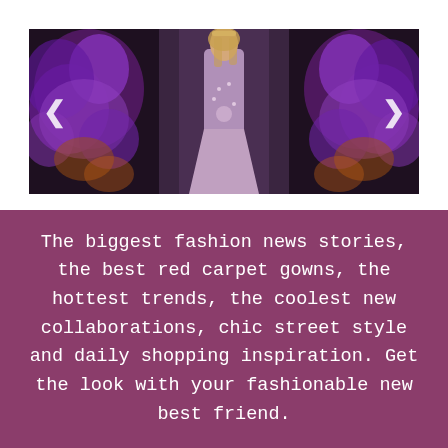[Figure (photo): Fashion runway photo showing a model in a purple/lavender gown with decorative embellishments, walking on a runway with purple floral decorations on either side and a dark curtain backdrop. Carousel navigation arrows visible on left and right sides.]
The biggest fashion news stories, the best red carpet gowns, the hottest trends, the coolest new collaborations, chic street style and daily shopping inspiration. Get the look with your fashionable new best friend.